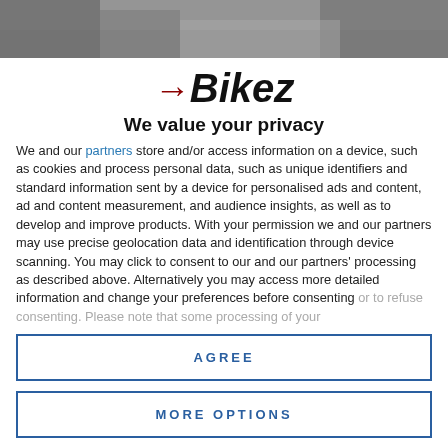[Figure (photo): Partial photo of a motorcycle rider at the top of the page, gray/dark tones]
Bikez
We value your privacy
We and our partners store and/or access information on a device, such as cookies and process personal data, such as unique identifiers and standard information sent by a device for personalised ads and content, ad and content measurement, and audience insights, as well as to develop and improve products. With your permission we and our partners may use precise geolocation data and identification through device scanning. You may click to consent to our and our partners' processing as described above. Alternatively you may access more detailed information and change your preferences before consenting or to refuse consenting. Please note that some processing of your
AGREE
MORE OPTIONS